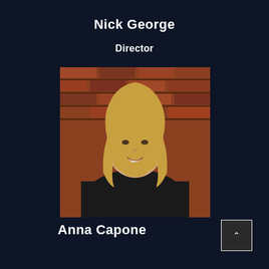Nick George
Director
[Figure (photo): Professional headshot of a blonde woman in a black top, smiling, against a brick wall background]
Anna Capone